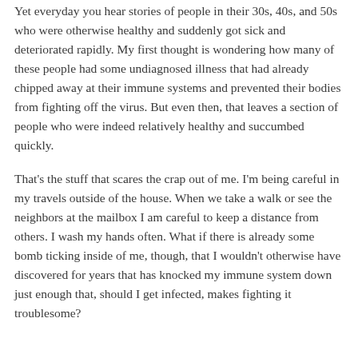Yet everyday you hear stories of people in their 30s, 40s, and 50s who were otherwise healthy and suddenly got sick and deteriorated rapidly. My first thought is wondering how many of these people had some undiagnosed illness that had already chipped away at their immune systems and prevented their bodies from fighting off the virus. But even then, that leaves a section of people who were indeed relatively healthy and succumbed quickly.
That's the stuff that scares the crap out of me. I'm being careful in my travels outside of the house. When we take a walk or see the neighbors at the mailbox I am careful to keep a distance from others. I wash my hands often. What if there is already some bomb ticking inside of me, though, that I wouldn't otherwise have discovered for years that has knocked my immune system down just enough that, should I get infected, makes fighting it troublesome?